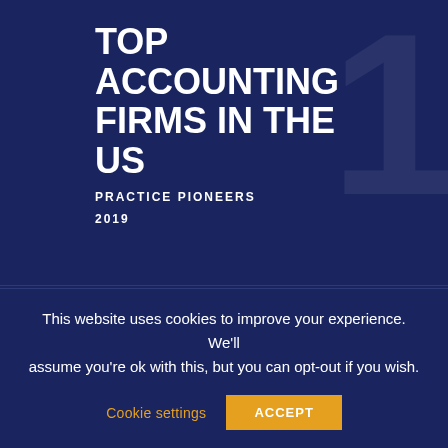TOP ACCOUNTING FIRMS IN THE US
PRACTICE PIONEERS
2019
Let's Get Social
[Figure (infographic): Five social media icon circles: LinkedIn (blue), YouTube (red), Twitter (light blue), Facebook (muted blue), Google+ (orange-red)]
Client Access
This website uses cookies to improve your experience. We'll assume you're ok with this, but you can opt-out if you wish.
Cookie settings   ACCEPT